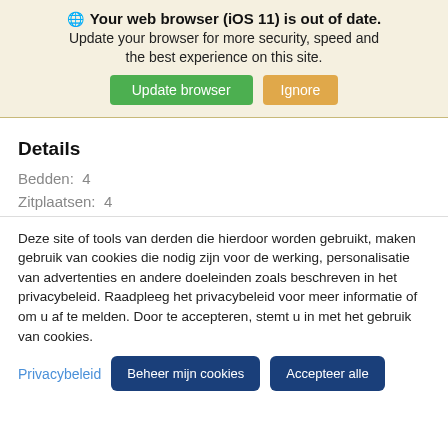🌐 Your web browser (iOS 11) is out of date. Update your browser for more security, speed and the best experience on this site.
Details
Bedden:  4
Zitplaatsen:  4
Deze site of tools van derden die hierdoor worden gebruikt, maken gebruik van cookies die nodig zijn voor de werking, personalisatie van advertenties en andere doeleinden zoals beschreven in het privacybeleid. Raadpleeg het privacybeleid voor meer informatie of om u af te melden. Door te accepteren, stemt u in met het gebruik van cookies.
Privacybeleid
Beheer mijn cookies
Accepteer alle